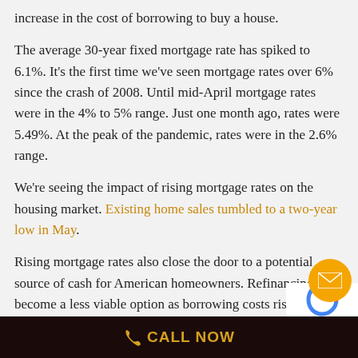increase in the cost of borrowing to buy a house.
The average 30-year fixed mortgage rate has spiked to 6.1%. It’s the first time we’ve seen mortgage rates over 6% since the crash of 2008. Until mid-April mortgage rates were in the 4% to 5% range. Just one month ago, rates were 5.49%. At the peak of the pandemic, rates were in the 2.6% range.
We’re seeing the impact of rising mortgage rates on the housing market. Existing home sales tumbled to a two-year low in May.
Rising mortgage rates also close the door to a potential source of cash for American homeowners. Refinancing become a less viable option as borrowing costs rise.
CALL NOW